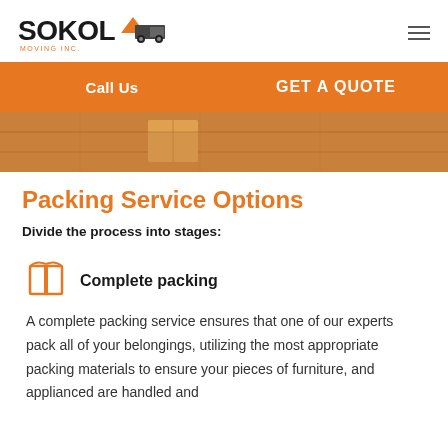SOKOL MOVING INC.
[Figure (logo): Sokol Moving Inc. logo with truck icon and orange accent]
Call Us   GET A QUOTE
[Figure (photo): Hero image showing moving boxes on a wooden floor]
Packing Service Options
Divide the process into stages:
[Figure (illustration): Orange box/packing icon]
Complete packing
A complete packing service ensures that one of our experts pack all of your belongings, utilizing the most appropriate packing materials to ensure your pieces of furniture, and applianced are handled and